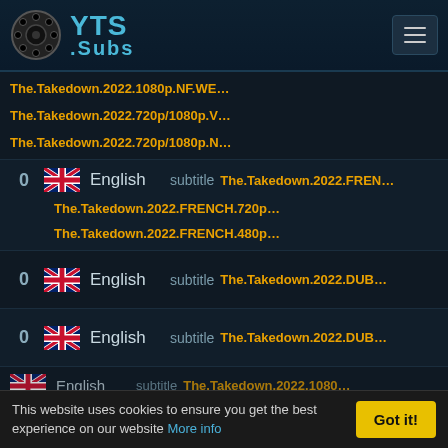YTS Subs
The.Takedown.2022.1080p.NF.WE...
The.Takedown.2022.720p/1080p.V...
The.Takedown.2022.720p/1080p.N...
0  English  subtitle  The.Takedown.2022.FREN...
The.Takedown.2022.FRENCH.720p...
The.Takedown.2022.FRENCH.480p...
0  English  subtitle  The.Takedown.2022.DUB...
0  English  subtitle  The.Takedown.2022.DUB...
English  subtitle  The.Takedown.2022.1080...
This website uses cookies to ensure you get the best experience on our website More info  Got it!